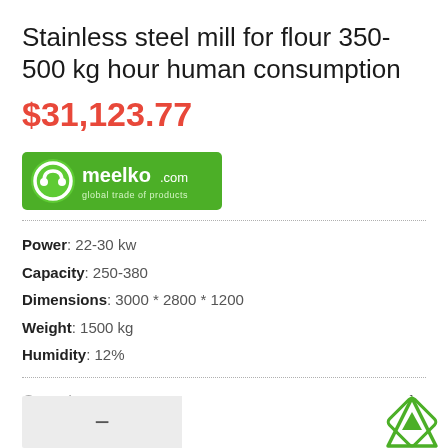Stainless steel mill for flour 350-500 kg hour human consumption
$31,123.77
[Figure (logo): Meelko.com logo - green rectangle with white circular icon and text 'meelko.com global trade of products']
Power: 22-30 kw
Capacity: 250-380
Dimensions: 3000 * 2800 * 1200
Weight: 1500 kg
Humidity: 12%
Quantity   1